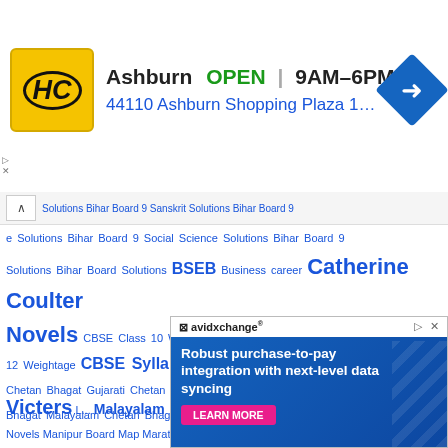[Figure (screenshot): Top advertisement banner: HC logo, Ashburn OPEN 9AM-6PM, 44110 Ashburn Shopping Plaza 190, A..., blue navigation arrow icon]
Solutions Bihar Board 9 Sanskrit Solutions Bihar Board 9 Science Solutions Bihar Board 9 Social Science Solutions Bihar Board 9 Solutions Bihar Board Solutions BSEB Business career Catherine Coulter Novels CBSE Class 10 Weightage CBSE Class 11 Weightage CBSE Class 12 Weightage CBSE Syllabus CGBSE Board Chetan Bhagat Bengali Chetan Bhagat Gujarati Chetan Bhagat Hindi Chetan Bhagat Kannada Chetan Bhagat Malayalam Chetan Bhagat Marathi Chetan Bhagat Novels Chetan Bhagat Tamil Chetan Bhagat Telugu Class 1 Class 10 Class 2 Class 3 Class 4 Class 5 Class 6 Class 7 Class 8 Class 9 Coaching Classes Contact Contact Details Ctet DHA Exam Books Education Entertainment Finance Focus Area Free Fire Names Goa Board Gujarat Board Handwritten Notes Haryana Board Hospital Contact Details HP Board HSCAP Application Form hsslive hsslive maths HSSLVE Syllabus iExamS Improvement... Novels Jharkhand... abus Kerala Syllabus 6th... us 9th Kite Victers ... Malayalam Novels Manipur Board Map Marathi Novels measurement
[Figure (screenshot): Bottom advertisement: avidxchange logo, Robust purchase-to-pay integration with next-level data syncing, LEARN MORE button]